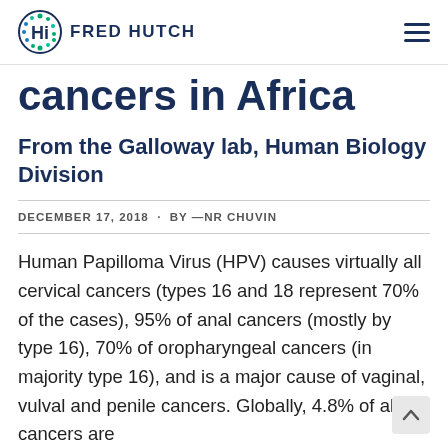FRED HUTCH
cancers in Africa
From the Galloway lab, Human Biology Division
DECEMBER 17, 2018  ·  BY — NR CHUVIN
Human Papilloma Virus (HPV) causes virtually all cervical cancers (types 16 and 18 represent 70% of the cases), 95% of anal cancers (mostly by type 16), 70% of oropharyngeal cancers (in majority type 16), and is a major cause of vaginal, vulval and penile cancers. Globally, 4.8% of all cancers are